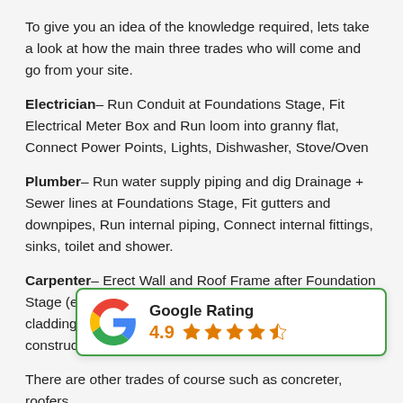To give you an idea of the knowledge required, lets take a look at how the main three trades who will come and go from your site.
Electrician– Run Conduit at Foundations Stage, Fit Electrical Meter Box and Run loom into granny flat, Connect Power Points, Lights, Dishwasher, Stove/Oven
Plumber– Run water supply piping and dig Drainage + Sewer lines at Foundations Stage, Fit gutters and downpipes, Run internal piping, Connect internal fittings, sinks, toilet and shower.
Carpenter– Erect Wall and Roof Frame after Foundation Stage (erect floor system if on piers), Fit external cladding (if weatherboard construction), ... trimming, Hang doors.
[Figure (other): Google Rating widget showing 4.9 stars out of 5]
There are other trades of course such as concreter, roofers